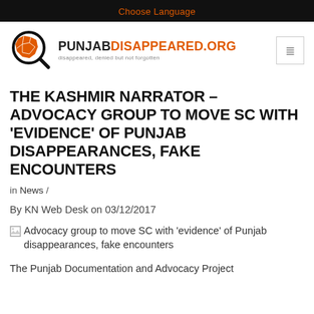Choose Language
[Figure (logo): PunjabDisappeared.org logo with magnifying glass over map of Punjab region and text PUNJABDISAPPEARED.ORG, tagline: disappeared, denied but not forgotten]
THE KASHMIR NARRATOR – ADVOCACY GROUP TO MOVE SC WITH 'EVIDENCE' OF PUNJAB DISAPPEARANCES, FAKE ENCOUNTERS
in News /
By KN Web Desk on 03/12/2017
[Figure (photo): Advocacy group to move SC with 'evidence' of Punjab disappearances, fake encounters]
The Punjab Documentation and Advocacy Project